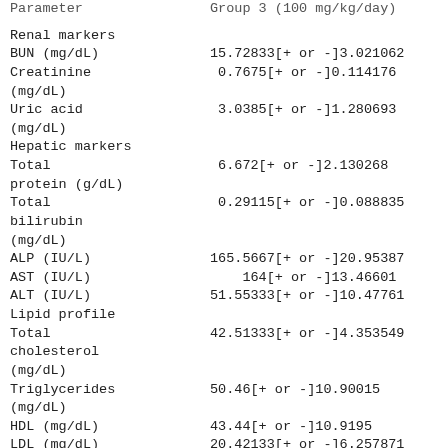| Parameter | Group 3 (100 mg/kg/day) |
| --- | --- |
| Renal markers |  |
| BUN (mg/dL) | 15.72833[+ or -]3.021062 |
| Creatinine
(mg/dL) | 0.7675[+ or -]0.114176 |
| Uric acid
(mg/dL) | 3.0385[+ or -]1.280693 |
| Hepatic markers |  |
| Total
protein (g/dL) | 6.672[+ or -]2.130268 |
| Total
bilirubin
(mg/dL) | 0.29115[+ or -]0.088835 |
| ALP (IU/L) | 165.5667[+ or -]20.95387 |
| AST (IU/L) | 164[+ or -]13.46601 |
| ALT (IU/L) | 51.55333[+ or -]10.47761 |
| Lipid profile |  |
| Total
cholesterol
(mg/dL) | 42.51333[+ or -]4.353549 |
| Triglycerides
(mg/dL) | 50.46[+ or -]10.90015 |
| HDL (mg/dL) | 43.44[+ or -]10.9195 |
| LDL (mg/dL) | 20.42133[+ or -]6.257871 |